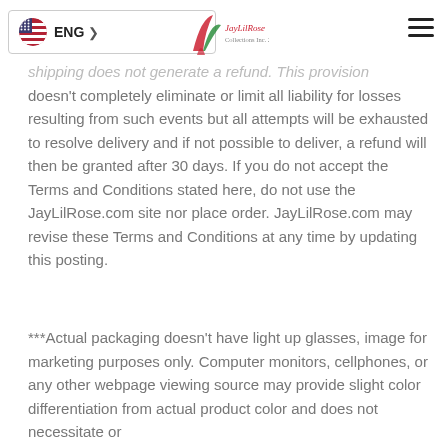ENG > [flag] [logo: JayLilRose Collections Inc. 2020] [hamburger menu]
shipping does not generate a refund. This provision doesn't completely eliminate or limit all liability for losses resulting from such events but all attempts will be exhausted to resolve delivery and if not possible to deliver, a refund will then be granted after 30 days. If you do not accept the Terms and Conditions stated here, do not use the JayLilRose.com site nor place order. JayLilRose.com may revise these Terms and Conditions at any time by updating this posting.
***Actual packaging doesn't have light up glasses, image for marketing purposes only. Computer monitors, cellphones, or any other webpage viewing source may provide slight color differentiation from actual product color and does not necessitate or